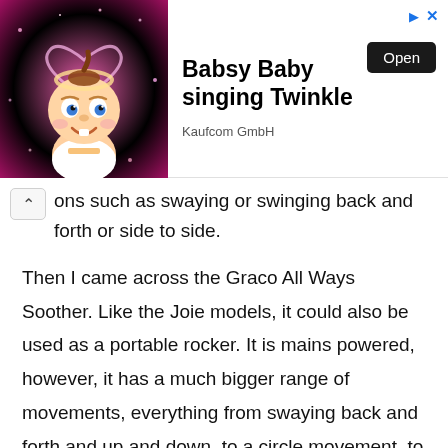[Figure (illustration): Advertisement banner showing a cartoon baby character on a pink sparkly background with a heart outline, for 'Babsy Baby singing Twinkle' by Kaufcom GmbH, with an Open button and navigation arrows in the top right corner.]
ons such as swaying or swinging back and forth or side to side.
Then I came across the Graco All Ways Soother. Like the Joie models, it could also be used as a portable rocker. It is mains powered, however, it has a much bigger range of movements, everything from swaying back and forth and up and down, to a circle movement, to a figure of 8 motion. You access these movements by pressing the buttons on the standing base unit. You also have the option to speed up the movements and